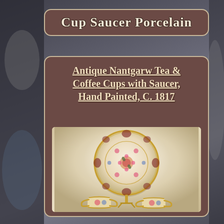Cup Saucer Porcelain
Antique Nantgarw Tea & Coffee Cups with Saucer, Hand Painted, C. 1817
[Figure (photo): Photograph of antique Nantgarw hand-painted porcelain: a decorative saucer with floral motifs on a display stand (top), and two gilded coffee cups with handles visible at the bottom, all featuring intricate floral and gold decoration circa 1817.]